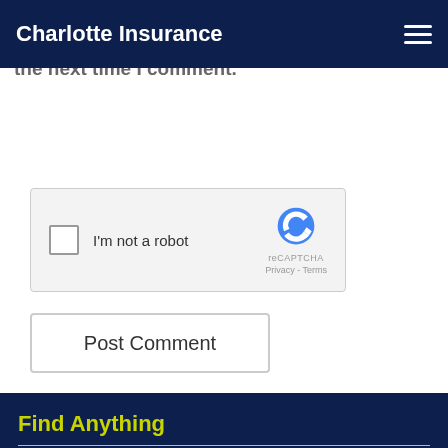Charlotte Insurance
the next time I comment.
[Figure (screenshot): reCAPTCHA widget with checkbox labeled 'I'm not a robot', reCAPTCHA logo with Privacy and Terms links]
Post Comment
Find Anything
Search
Recent Blogs
Wedding Insurance Guide – Protect Your Big Day